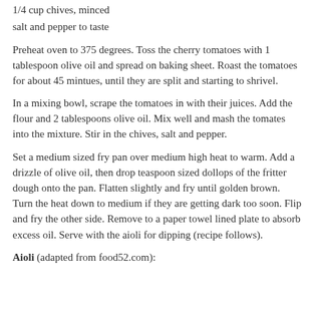1/4 cup chives, minced
salt and pepper to taste
Preheat oven to 375 degrees. Toss the cherry tomatoes with 1 tablespoon olive oil and spread on baking sheet. Roast the tomatoes for about 45 mintues, until they are split and starting to shrivel.
In a mixing bowl, scrape the tomatoes in with their juices. Add the flour and 2 tablespoons olive oil. Mix well and mash the tomates into the mixture. Stir in the chives, salt and pepper.
Set a medium sized fry pan over medium high heat to warm. Add a drizzle of olive oil, then drop teaspoon sized dollops of the fritter dough onto the pan. Flatten slightly and fry until golden brown. Turn the heat down to medium if they are getting dark too soon. Flip and fry the other side. Remove to a paper towel lined plate to absorb excess oil. Serve with the aioli for dipping (recipe follows).
Aioli (adapted from food52.com):